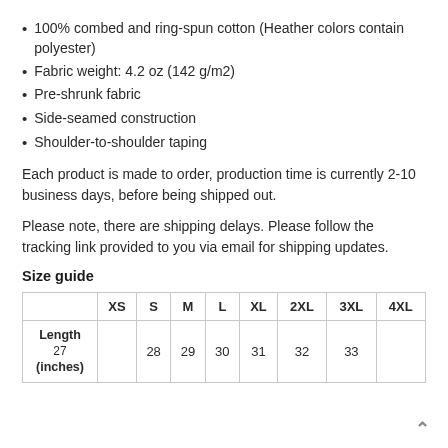100% combed and ring-spun cotton (Heather colors contain polyester)
Fabric weight: 4.2 oz (142 g/m2)
Pre-shrunk fabric
Side-seamed construction
Shoulder-to-shoulder taping
Each product is made to order, production time is currently 2-10 business days, before being shipped out.
Please note, there are shipping delays. Please follow the tracking link provided to you via email for shipping updates.
Size guide
|  | XS | S | M | L | XL | 2XL | 3XL | 4XL |
| --- | --- | --- | --- | --- | --- | --- | --- | --- |
| Length (inches) | 27 | 28 | 29 | 30 | 31 | 32 | 33 |  |